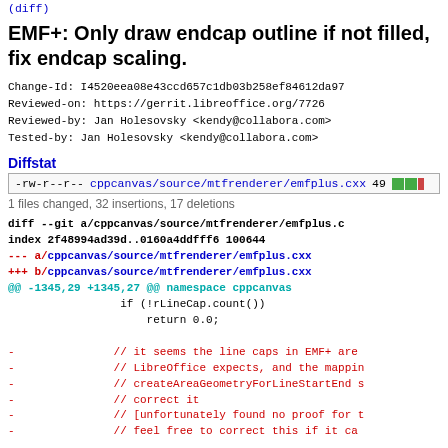(diff)
EMF+: Only draw endcap outline if not filled, fix endcap scaling.
Change-Id: I4520eea08e43ccd657c1db03b258ef84612da97
Reviewed-on: https://gerrit.libreoffice.org/7726
Reviewed-by: Jan Holesovsky <kendy@collabora.com>
Tested-by: Jan Holesovsky <kendy@collabora.com>
Diffstat
| mode | file | lines | bars |
| --- | --- | --- | --- |
| -rw-r--r-- | cppcanvas/source/mtfrenderer/emfplus.cxx | 49 | ██ |
1 files changed, 32 insertions, 17 deletions
diff --git a/cppcanvas/source/mtfrenderer/emfplus.c
index 2f48994ad39d..0160a4ddfff6 100644
--- a/cppcanvas/source/mtfrenderer/emfplus.cxx
+++ b/cppcanvas/source/mtfrenderer/emfplus.cxx
@@ -1345,29 +1345,27 @@ namespace cppcanvas
                 if (!rLineCap.count())
                     return 0.0;

-                // it seems the line caps in EMF+ are
-                // LibreOffice expects, and the mappin
-                // createAreaGeometryForLineStartEnd s
-                // correct it
-                // [unfortunately found no proof for t
-                // feel free to correct this if it ca